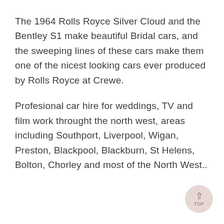The 1964 Rolls Royce Silver Cloud and the Bentley S1 make beautiful Bridal cars, and the sweeping lines of these cars make them one of the nicest looking cars ever produced by Rolls Royce at Crewe.
Profesional car hire for weddings, TV and film work throught the north west, areas including Southport, Liverpool, Wigan, Preston, Blackpool, Blackburn, St Helens, Bolton, Chorley and most of the North West..